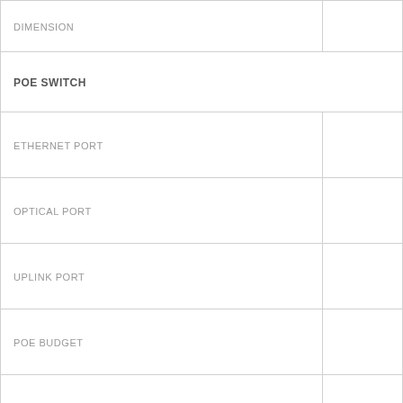| DIMENSION |  |
| POE SWITCH |  |
| ETHERNET PORT |  |
| OPTICAL PORT |  |
| UPLINK PORT |  |
| POE BUDGET |  |
| LAYER |  |
| TYPE |  |
| MONITOR |  |
| SIZE |  |
| COLOUR |  |